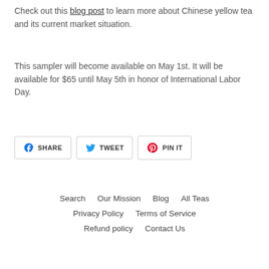Check out this blog post to learn more about Chinese yellow tea and its current market situation.
This sampler will become available on May 1st. It will be available for $65 until May 5th in honor of International Labor Day.
[Figure (other): Social share buttons: SHARE (Facebook), TWEET (Twitter), PIN IT (Pinterest)]
Search   Our Mission   Blog   All Teas   Privacy Policy   Terms of Service   Refund policy   Contact Us